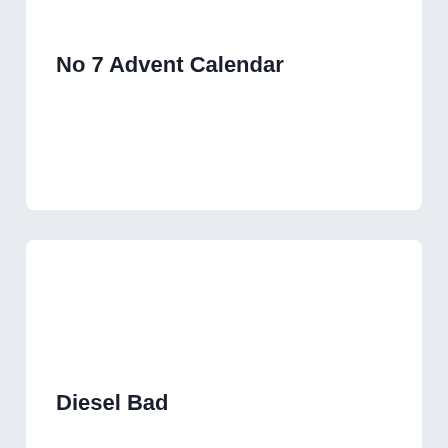No 7 Advent Calendar
[Figure (other): White card area with product image placeholder]
Diesel Bad